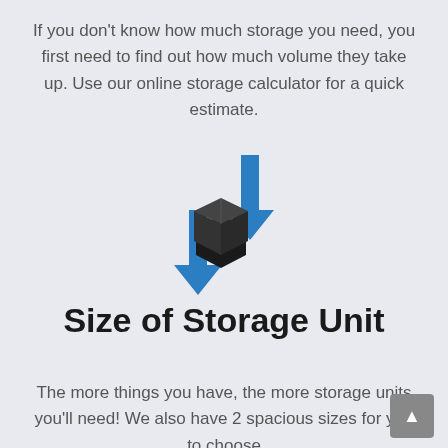If you don't know how much storage you need, you first need to find out how much volume they take up. Use our online storage calculator for a quick estimate.
[Figure (illustration): A blue 3D box icon with an upward blue arrow on the top-right and a downward blue arrow on the bottom-left, symbolizing storage volume or sizing.]
Size of Storage Unit
The more things you have, the more storage units you'll need! We also have 2 spacious sizes for you to choose